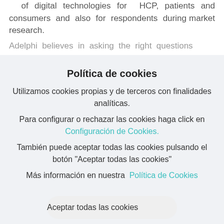of digital technologies for HCP, patients and consumers and also for respondents during market research.
Adelphi believes in asking the right questions
Política de cookies
Utilizamos cookies propias y de terceros con finalidades analíticas.
Para configurar o rechazar las cookies haga click en Configuración de Cookies.
También puede aceptar todas las cookies pulsando el botón "Aceptar todas las cookies"
Más información en nuestra Política de Cookies
Aceptar todas las cookies